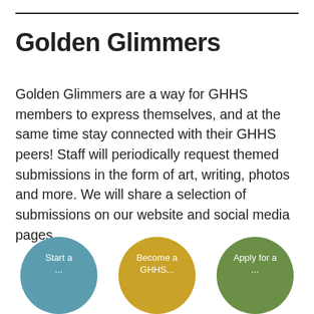Golden Glimmers
Golden Glimmers are a way for GHHS members to express themselves, and at the same time stay connected with their GHHS peers! Staff will periodically request themed submissions in the form of art, writing, photos and more. We will share a selection of submissions on our website and social media pages.
[Figure (infographic): Three colored circles at the bottom: a teal/blue circle labeled 'Start a...', a golden/yellow circle labeled 'Become a GHHS...', and a green circle labeled 'Apply for a...']